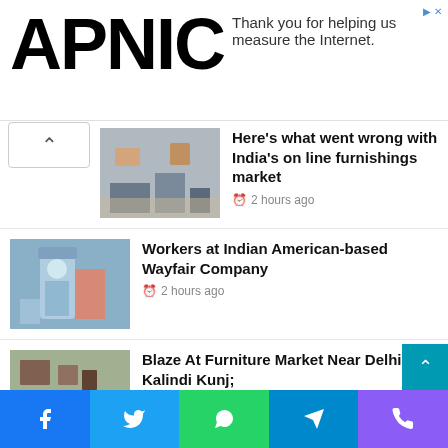APNIC — Thank you for helping us measure the Internet.
Here's what went wrong with India's on line furnishings market — 2 hours ago
Workers at Indian American-based Wayfair Company — 2 hours ago
Blaze At Furniture Market Near Delhi's Kalindi Kunj; — 5 hours ago
EMI purchases on a excessive across on line — 10 hours ago
Facebook | Twitter | WhatsApp | Telegram | Phone